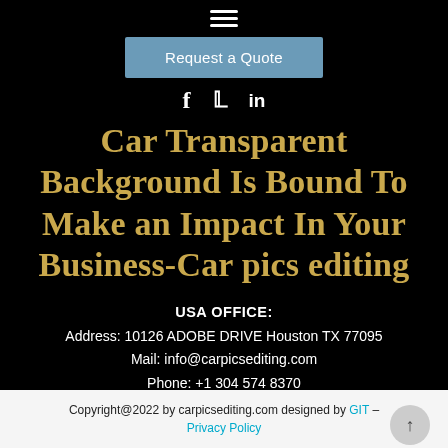≡ (hamburger menu icon)
Request a Quote
[Figure (other): Social media icons: Facebook (f), Twitter (bird), LinkedIn (in)]
Car Transparent Background Is Bound To Make an Impact In Your Business-Car pics editing
USA OFFICE:
Address: 10126 ADOBE DRIVE Houston TX 77095
Mail: info@carpicsediting.com
Phone: +1 304 574 8370
Copyright@2022 by carpicsediting.com designed by GIT – Privacy Policy